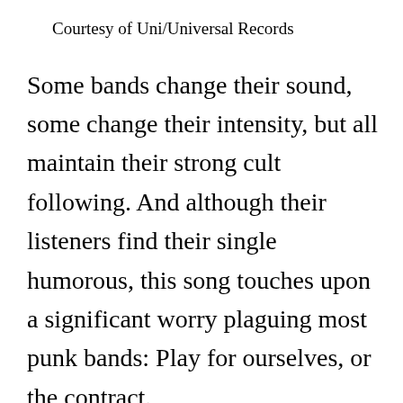Courtesy of Uni/Universal Records
Some bands change their sound, some change their intensity, but all maintain their strong cult following. And although their listeners find their single humorous, this song touches upon a significant worry plaguing most punk bands: Play for ourselves, or the contract.
Over the past 10 years, punk has attempted to make itself fairly more mainstream. By releasing singles to be played on the radio, signing on to soundtracks, even playing background music for teenage video games, these bands strive to promote their name in an industry that pretentiously perceives them